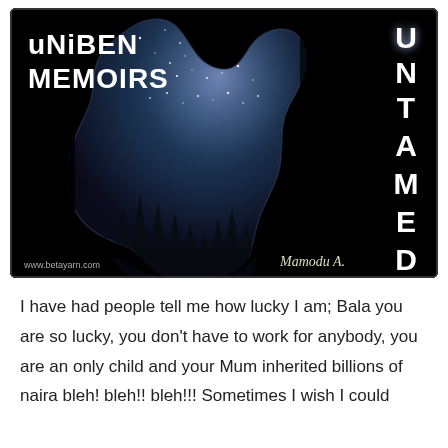[Figure (illustration): Book cover image for 'Uniben Memoirs Untamed' by Mamodu A. Dark/black background with a howling wolf silhouette filled with a night sky and pine tree treeline. Title 'UNIBEN MEMOIRS' in white on the left. 'UNTAMED' written vertically on the right in large white letters. Watermark 'www.betayarn.com' bottom left. Author signature 'Mamodu A.' in cursive bottom center-right.]
I have had people tell me how lucky I am; Bala you are so lucky, you don't have to work for anybody, you are an only child and your Mum inherited billions of naira bleh! bleh!! bleh!!! Sometimes I wish I could